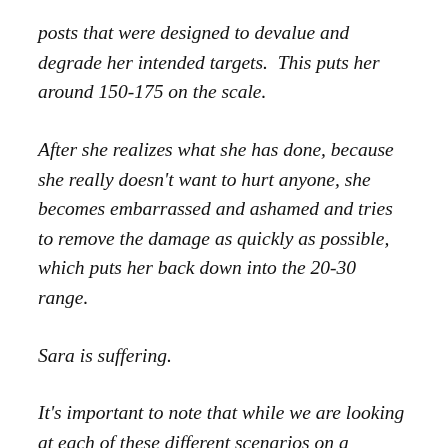posts that were designed to devalue and degrade her intended targets.  This puts her around 150-175 on the scale.
After she realizes what she has done, because she really doesn't want to hurt anyone, she becomes embarrassed and ashamed and tries to remove the damage as quickly as possible, which puts her back down into the 20-30 range.
Sara is suffering.
It's important to note that while we are looking at each of these different scenarios on a moment by